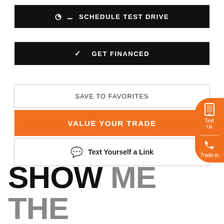SCHEDULE TEST DRIVE
GET FINANCED
SAVE TO FAVORITES
VALUE YOUR TRADE
Text Yourself a Link
[Figure (other): Floating orange sidebar widget with phone/text icons labeled 'Text Us' and 'Trade-in']
SHOW ME THE